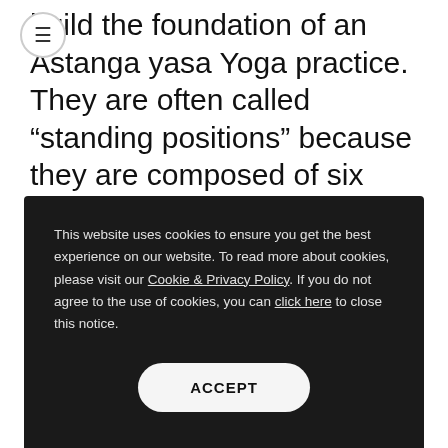build the foundation of an Astanga yasa Yoga practice. They are often called “standing positions” because they are composed of six relatively easy standing asanas. Parsvottanasana is the sixth of these fundamental postures.
This website uses cookies to ensure you get the best experience on our website. To read more about cookies, please visit our Cookie & Privacy Policy. If you do not agree to the use of cookies, you can click here to close this notice.